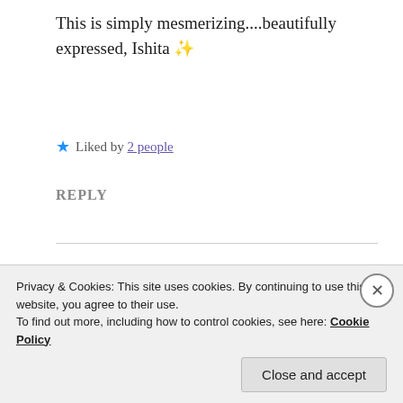This is simply mesmerizing....beautifully expressed, Ishita ✨
★ Liked by 2 people
REPLY
ISHITA GUPTA
Mar 16, 2021 at 5:56 pm
Thank you so much Navin!🖤😊
Privacy & Cookies: This site uses cookies. By continuing to use this website, you agree to their use.
To find out more, including how to control cookies, see here: Cookie Policy
Close and accept